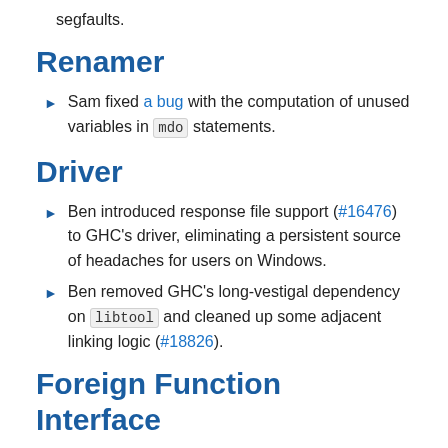segfaults.
Renamer
Sam fixed a bug with the computation of unused variables in mdo statements.
Driver
Ben introduced response file support (#16476) to GHC's driver, eliminating a persistent source of headaches for users on Windows.
Ben removed GHC's long-vestigal dependency on libtool and cleaned up some adjacent linking logic (#18826).
Foreign Function Interface